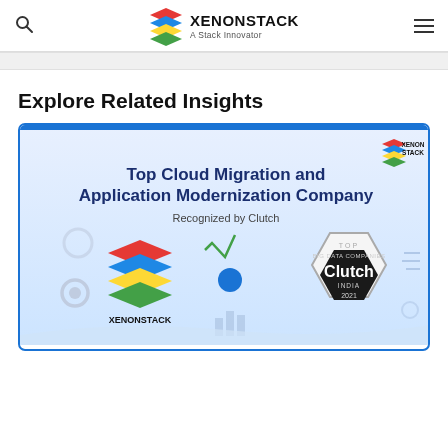XenonStack — A Stack Innovator
Explore Related Insights
[Figure (illustration): XenonStack promotional card: Top Cloud Migration and Application Modernization Company, Recognized by Clutch. Features XenonStack logo, Clutch Top Big Data Companies India 2021 badge.]